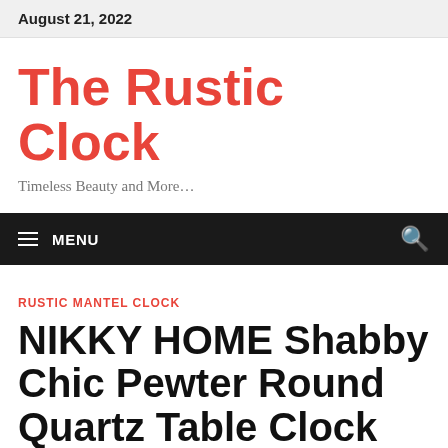August 21, 2022
The Rustic Clock
Timeless Beauty and More…
≡  MENU
RUSTIC MANTEL CLOCK
NIKKY HOME Shabby Chic Pewter Round Quartz Table Clock with 2 Birds, 4.75" x